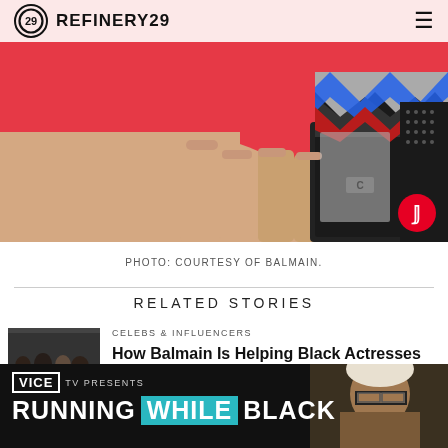REFINERY29
[Figure (photo): Close-up photo of hands holding a geometric patterned clutch bag against a red background. A Pinterest button overlay is visible in the lower right corner.]
PHOTO: COURTESY OF BALMAIN.
RELATED STORIES
[Figure (photo): Thumbnail image of a group of Black actresses at an event on a red carpet.]
CELEBS & INFLUENCERS
How Balmain Is Helping Black Actresses Challenge Racism At...
[Figure (screenshot): VICE TV advertisement banner: VICE TV PRESENTS RUNNING WHILE BLACK. Shows a person in the background.]